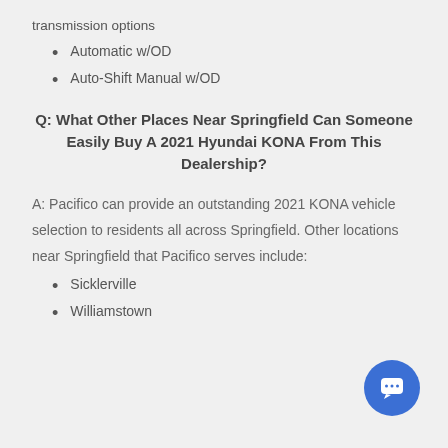transmission options
Automatic w/OD
Auto-Shift Manual w/OD
Q: What Other Places Near Springfield Can Someone Easily Buy A 2021 Hyundai KONA From This Dealership?
A: Pacifico can provide an outstanding 2021 KONA vehicle selection to residents all across Springfield. Other locations near Springfield that Pacifico serves include:
Sicklerville
Williamstown